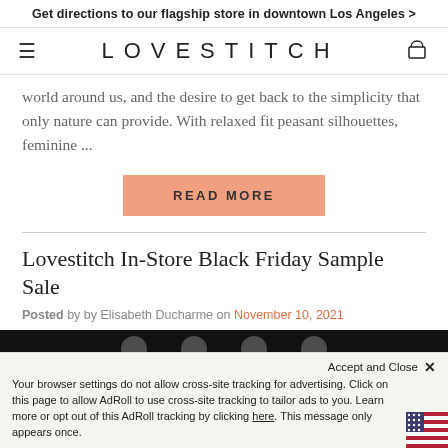Get directions to our flagship store in downtown Los Angeles >
[Figure (logo): Lovestitch brand navigation bar with hamburger menu, LOVESTITCH logo in wide letter-spacing, and bag icon]
world around us, and the desire to get back to the simplicity that only nature can provide. With relaxed fit peasant silhouettes, feminine ...
READ MORE
Lovestitch In-Store Black Friday Sample Sale
Posted by by Elisabeth Ducharme on November 10, 2021
[Figure (screenshot): Dark banner image strip showing social media circle icons]
Accept and Close ×
Your browser settings do not allow cross-site tracking for advertising. Click on this page to allow AdRoll to use cross-site tracking to tailor ads to you. Learn more or opt out of this AdRoll tracking by clicking here. This message only appears once.